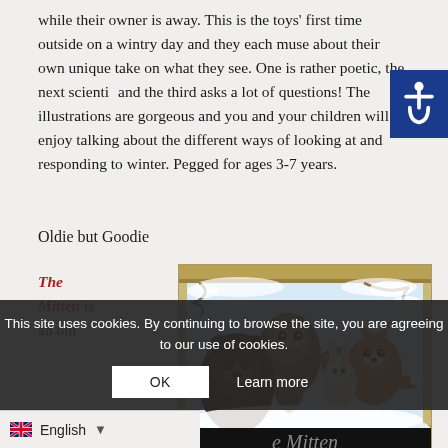while their owner is away. This is the toys' first time outside on a wintry day and they each muse about their own unique take on what they see. One is rather poetic, the next scientific and the third asks a lot of questions! The illustrations are gorgeous and you and your children will enjoy talking about the different ways of looking at and responding to winter. Pegged for ages 3-7 years.
Oldie but Goodie
The Mitten is an old
[Figure (illustration): Illustration from The Mitten book showing animals including an owl, fox, rabbit, and other creatures huddled together in a snowy scene with a wooden frame border.]
This site uses cookies. By continuing to browse the site, you are agreeing to our use of cookies.
OK   Learn more
English